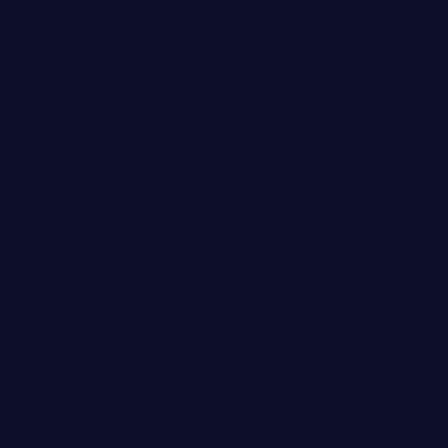I, uhm, need those... Every time I see women w... migraine.  But now... Walters interview t... issues' and 'defens... that she is the look... her "Pop Ate My H... early on last year.